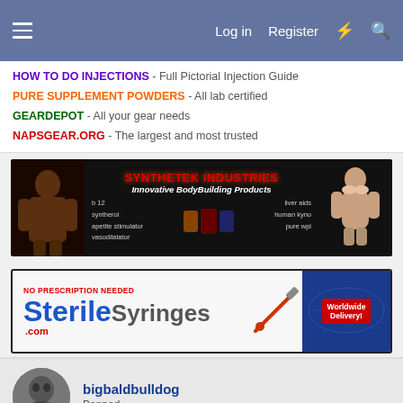Log in  Register
HOW TO DO INJECTIONS - Full Pictorial Injection Guide
PURE SUPPLEMENT POWDERS - All lab certified
GEARDEPOT - All your gear needs
NAPSGEAR.ORG - The largest and most trusted
[Figure (advertisement): Synthetek Industries - Innovative BodyBuilding Products banner ad with muscular man and woman, products listed: b12, syntherol, apetite stimulator, vasodilatator, liver aids, human kyno, pure wpi]
[Figure (advertisement): SteriSyringes.com - No Prescription Needed, Worldwide Delivery banner ad]
bigbaldbulldog
Banned
Aug 1, 2003  #13